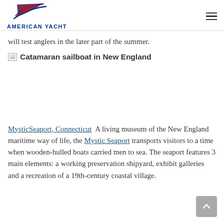AMERICAN YACHT
will test anglers in the later part of the summer.
[Figure (photo): Broken image placeholder with alt text: Catamaran sailboat in New England]
MysticSeaport, Connecticut  A living museum of the New England maritime way of life, the Mystic Seaport transports visitors to a time when wooden-hulled boats carried men to sea. The seaport features 3 main elements: a working preservation shipyard, exhibit galleries and a recreation of a 19th-century coastal village.